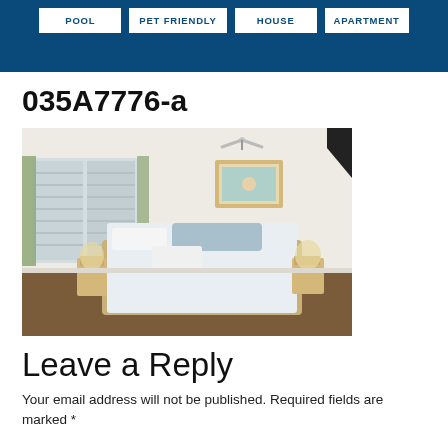POOL | PET FRIENDLY | HOUSE | APARTMENT
035A7776-a
[Figure (photo): Interior bedroom photo showing a neatly made double bed with white linens and blue pillows, bedside tables with lamps, plantation shutters on windows with green curtains, ceiling fan, framed artwork above headboard, brown carpet floor.]
Leave a Reply
Your email address will not be published. Required fields are marked *